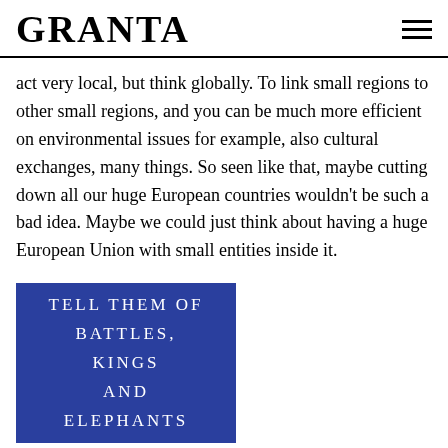GRANTA
act very local, but think globally. To link small regions to other small regions, and you can be much more efficient on environmental issues for example, also cultural exchanges, many things. So seen like that, maybe cutting down all our huge European countries wouldn't be such a bad idea. Maybe we could just think about having a huge European Union with small entities inside it.
[Figure (photo): Book cover with blue background showing the title 'TELL THEM OF BATTLES, KINGS AND ELEPHANTS' in white uppercase spaced letters]